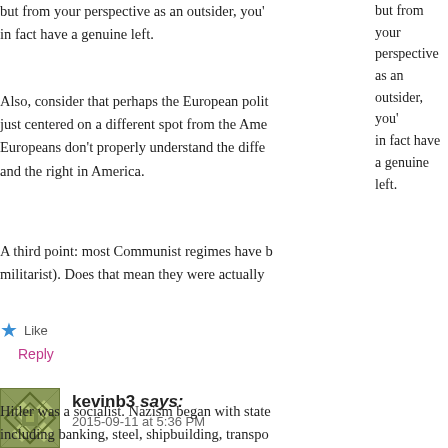but from your perspective as an outsider, you' in fact have a genuine left.
Also, consider that perhaps the European polit just centered on a different spot from the Ame Europeans don’t properly understand the diffe and the right in America.
A third point: most Communist regimes have b militarist). Does that mean they were actually
★ Like
Reply
kevinb3 says:
2015-09-11 at 5:36 PM
Hitler was a socialist. Nazism began with state including banking, steel, shipbuilding, transpo